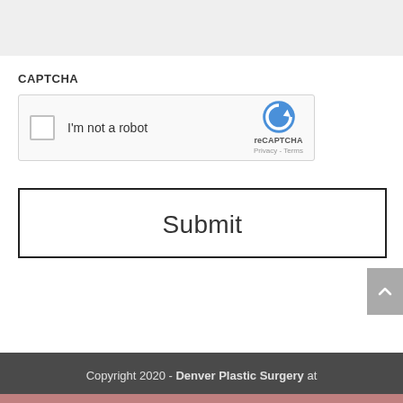[Figure (other): Gray empty box at the top of the page]
CAPTCHA
[Figure (other): reCAPTCHA widget with checkbox labeled I'm not a robot and reCAPTCHA Privacy Terms logo]
[Figure (other): Submit button — large white button with black border]
Copyright 2020 - Denver Plastic Surgery at